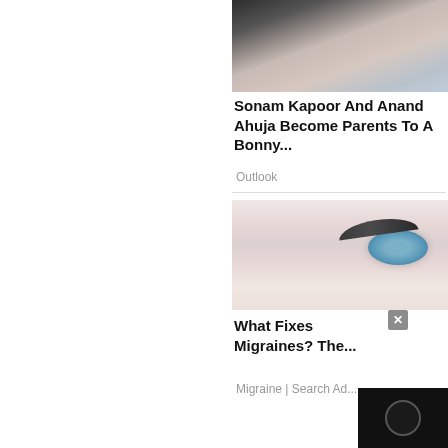[Figure (photo): Couple sitting together, woman in light dress, man in grey top, dark background]
Sonam Kapoor And Anand Ahuja Become Parents To A Bonny...
Outlook
[Figure (photo): Close-up of woman's eye with light pink/cream background, fingers touching face]
What Fixes Migraines? The...
Migraine | Search Ad...